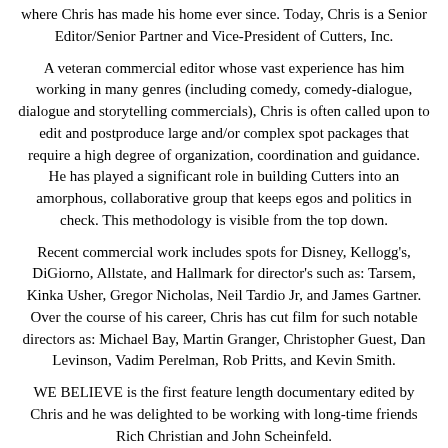where Chris has made his home ever since. Today, Chris is a Senior Editor/Senior Partner and Vice-President of Cutters, Inc.
A veteran commercial editor whose vast experience has him working in many genres (including comedy, comedy-dialogue, dialogue and storytelling commercials), Chris is often called upon to edit and postproduce large and/or complex spot packages that require a high degree of organization, coordination and guidance. He has played a significant role in building Cutters into an amorphous, collaborative group that keeps egos and politics in check. This methodology is visible from the top down.
Recent commercial work includes spots for Disney, Kellogg's, DiGiorno, Allstate, and Hallmark for director's such as: Tarsem, Kinka Usher, Gregor Nicholas, Neil Tardio Jr, and James Gartner. Over the course of his career, Chris has cut film for such notable directors as: Michael Bay, Martin Granger, Christopher Guest, Dan Levinson, Vadim Perelman, Rob Pritts, and Kevin Smith.
WE BELIEVE is the first feature length documentary edited by Chris and he was delighted to be working with long-time friends Rich Christian and John Scheinfeld.
Biography
RICHARD C. CHRISTIAN, Jr. | Director of Photography and